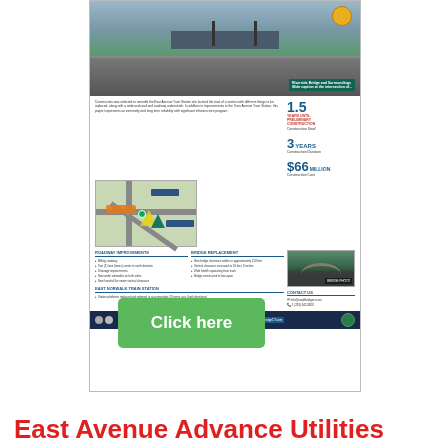[Figure (infographic): A project fact sheet flyer for the East Avenue/East Norwalk Train Station project, showing a street-level photo of a road with an overpass, a project map, statistics (1.5 years until construction, 3 years construction duration, $66 million construction cost), roadway improvements, bridge replacement details, East Norwalk Train Station info, contact information, social media icons, and a website URL.]
Click here
East Avenue Advance Utilities